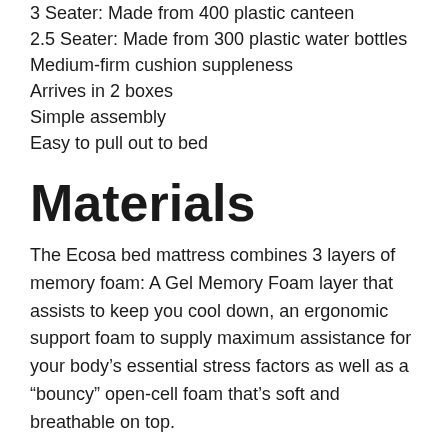3 Seater: Made from 400 plastic canteen
2.5 Seater: Made from 300 plastic water bottles
Medium-firm cushion suppleness
Arrives in 2 boxes
Simple assembly
Easy to pull out to bed
Materials
The Ecosa bed mattress combines 3 layers of memory foam: A Gel Memory Foam layer that assists to keep you cool down, an ergonomic support foam to supply maximum assistance for your body’s essential stress factors as well as a “bouncy” open-cell foam that’s soft and breathable on top.